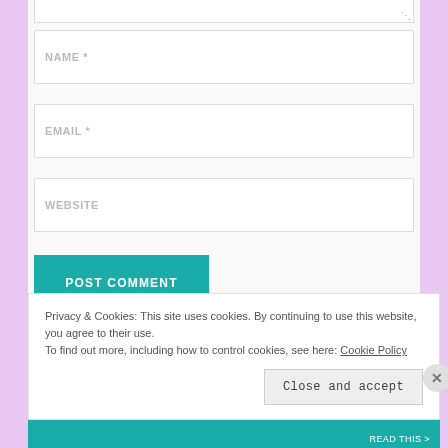[Figure (screenshot): Top portion of a textarea input (partially visible at top of page), with a resize handle in the bottom-right corner]
NAME *
EMAIL *
WEBSITE
POST COMMENT
Privacy & Cookies: This site uses cookies. By continuing to use this website, you agree to their use.
To find out more, including how to control cookies, see here: Cookie Policy
Close and accept